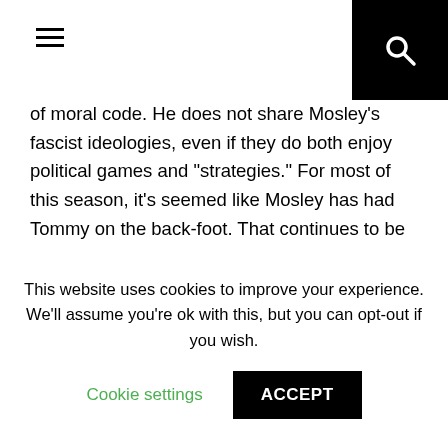hamburger menu and search icon
of moral code. He does not share Mosley's fascist ideologies, even if they do both enjoy political games and "strategies." For most of this season, it's seemed like Mosley has had Tommy on the back-foot. That continues to be the case this episode, as the sniveling MP makes him hand over a racecourse to the Billy Boys free of charge and orders him to fire his Jewish lawyer. Not to mention the heavy implication that Mosley was behind the murder of Officer Younger. He even tells Tommy to "drink less."
This website uses cookies to improve your experience. We'll assume you're ok with this, but you can opt-out if you wish.
Cookie settings    ACCEPT